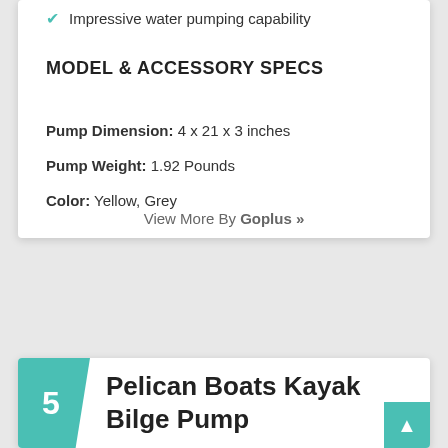Impressive water pumping capability
MODEL & ACCESSORY SPECS
Pump Dimension: 4 x 21 x 3 inches
Pump Weight: 1.92 Pounds
Color: Yellow, Grey
View More By Goplus »
5 Pelican Boats Kayak Bilge Pump